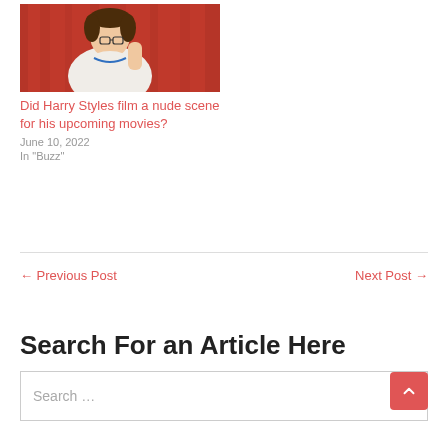[Figure (photo): Photo of Harry Styles in a white sweater against a red/orange curtain background, leaning with hand near face]
Did Harry Styles film a nude scene for his upcoming movies?
June 10, 2022
In "Buzz"
← Previous Post
Next Post →
Search For an Article Here
Search …